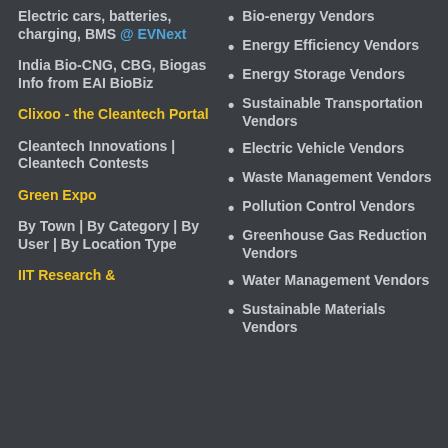Electric cars, batteries, charging, BMS @ EVNext
India Bio-CNG, CBG, Biogas Info from EAI BioBiz
Clixoo - the Cleantech Portal
Cleantech Innovations | Cleantech Contests
Green Expo
By Town | By Category | By User | By Location Type
IIT Research &
Bio-energy Vendors
Energy Efficiency Vendors
Energy Storage Vendors
Sustainable Transportation Vendors
Electric Vehicle Vendors
Waste Management Vendors
Pollution Control Vendors
Greenhouse Gas Reduction Vendors
Water Management Vendors
Sustainable Materials Vendors